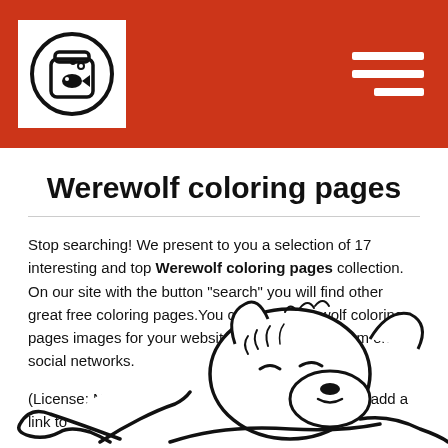Werewolf coloring pages site header with logo and hamburger menu
Werewolf coloring pages
Stop searching! We present to you a selection of 17 interesting and top Werewolf coloring pages collection. On our site with the button "search" you will find other great free coloring pages.You can use Werewolf coloring pages images for your website, blog, or share them on social networks.
(License: Not for commercial use!!!), in other cases add a link to our website.
[Figure (illustration): Partial werewolf coloring page illustration showing a crouching werewolf character in black and white outline style]